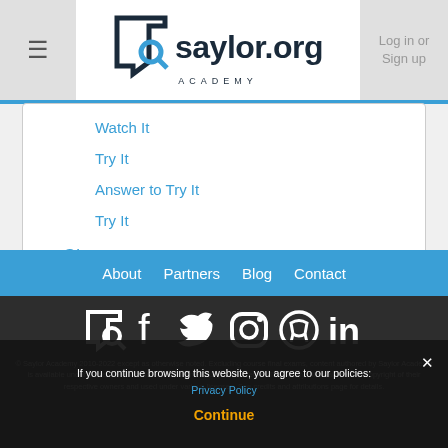[Figure (logo): Saylor Academy logo with hamburger menu and Log in or Sign up button]
Watch It
Try It
Answer to Try It
Try It
Glossary
About  Partners  Blog  Contact
[Figure (logo): Social media icons: Saylor, Facebook, Twitter, Instagram, GitHub, LinkedIn]
© Saylor Academy 2010-2022 except as otherwise noted. Excluding course final exams, content authored by Saylor Academy is available under a Creative Commons Attribution 3.0 Unported license. Third-party materials are the copyright of their respective owners and used under various licenses. See credits and attributions page for details.
If you continue browsing this website, you agree to our policies: Privacy Policy
Continue